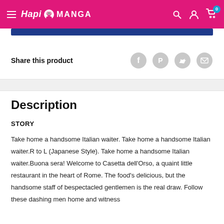HapiManga
Share this product
Description
STORY
Take home a handsome Italian waiter. Take home a handsome Italian waiter.R to L (Japanese Style). Take home a handsome Italian waiter.Buona sera! Welcome to Casetta dell'Orso, a quaint little restaurant in the heart of Rome. The food's delicious, but the handsome staff of bespectacled gentlemen is the real draw. Follow these dashing men home and witness